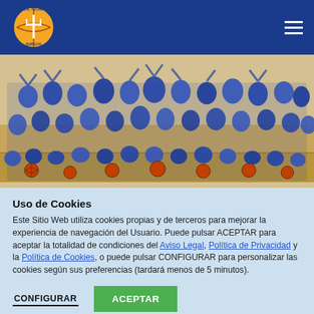C.B. Tizona Burgos - navigation header with logo and hamburger menu
[Figure (photo): Group photo of young basketball players in blue uniforms posing in a gymnasium, many holding basketballs and raising their arms.]
Uso de Cookies
Este Sitio Web utiliza cookies propias y de terceros para mejorar la experiencia de navegación del Usuario. Puede pulsar ACEPTAR para aceptar la totalidad de condiciones del Aviso Legal, Política de Privacidad y la Política de Cookies, o puede pulsar CONFIGURAR para personalizar las cookies según sus preferencias (tardará menos de 5 minutos).